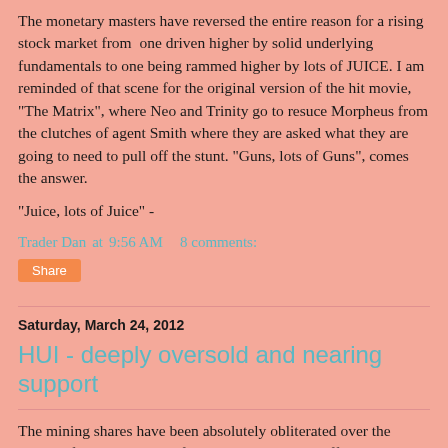The monetary masters have reversed the entire reason for a rising stock market from one driven higher by solid underlying fundamentals to one being rammed higher by lots of JUICE. I am reminded of that scene for the original version of the hit movie, "The Matrix", where Neo and Trinity go to resuce Morpheus from the clutches of agent Smith where they are asked what they are going to need to pull off the stunt. "Guns, lots of Guns", comes the answer.
"Juice, lots of Juice" -
Trader Dan at 9:56 AM   8 comments:
Share
Saturday, March 24, 2012
HUI - deeply oversold and nearing support
The mining shares have been absolutely obliterated over the course of the last couple of months as their longsuffering